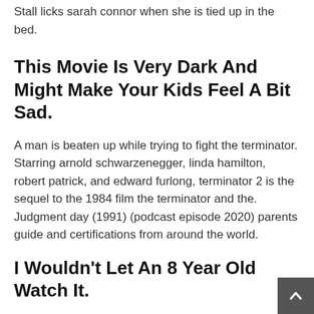Stall licks sarah connor when she is tied up in the bed.
This Movie Is Very Dark And Might Make Your Kids Feel A Bit Sad.
A man is beaten up while trying to fight the terminator. Starring arnold schwarzenegger, linda hamilton, robert patrick, and edward furlong, terminator 2 is the sequel to the 1984 film the terminator and the. Judgment day (1991) (podcast episode 2020) parents guide and certifications from around the world.
I Wouldn't Let An 8 Year Old Watch It.
Linda hamilton reprises her role as sarah connor, john's mother, a quintessential